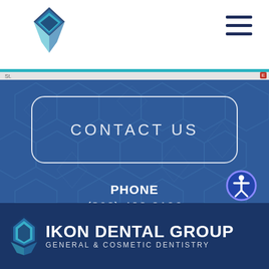[Figure (logo): Ikon Dental Group logo diamond shape in teal/navy colors in top navigation bar]
[Figure (screenshot): Hamburger menu icon (three horizontal lines) in top right of nav bar]
CONTACT US
PHONE
(860) 400-0196
[Figure (logo): Accessibility icon: person in circle with blue border]
IKON DENTAL GROUP
GENERAL & COSMETIC DENTISTRY